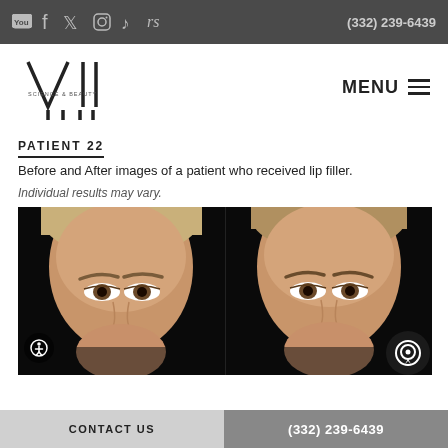(332) 239-6439
[Figure (logo): VII Science & Beauty logo with stylized Roman numeral VII]
PATIENT 22
Before and After images of a patient who received lip filler.
Individual results may vary.
[Figure (photo): Side-by-side before and after close-up facial photos of a female patient (forehead and eyes visible) who received lip filler treatment, shown against a dark background]
CONTACT US   (332) 239-6439